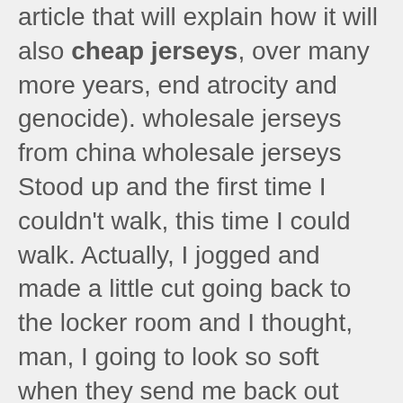article that will explain how it will also cheap jerseys, over many more years, end atrocity and genocide). wholesale jerseys from china wholesale jerseys Stood up and the first time I couldn't walk, this time I could walk. Actually, I jogged and made a little cut going back to the locker room and I thought, man, I going to look so soft when they send me back out there to play after such a big scene. Butt was spared the embarrassment as doctors rather quickly diagnosed the ACL injury. wholesale jerseys
cheap jerseys Now she rides a Kawi Zx10R. Foxie rides a 636. Foxie is 40+ and hot. The Secret Service Bureau's Foreign Section should have opened for business on 1 October 1909, but records show payments from...